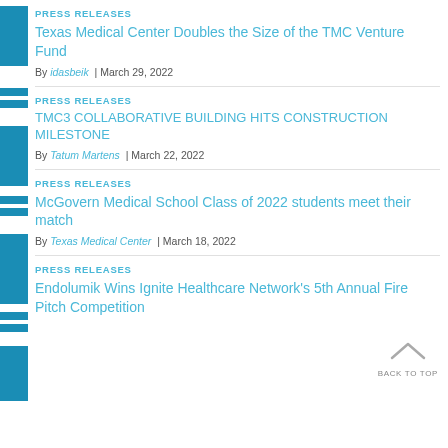PRESS RELEASES
Texas Medical Center Doubles the Size of the TMC Venture Fund
By idasbeik  | March 29, 2022
PRESS RELEASES
TMC3 COLLABORATIVE BUILDING HITS CONSTRUCTION MILESTONE
By Tatum Martens  | March 22, 2022
PRESS RELEASES
McGovern Medical School Class of 2022 students meet their match
By Texas Medical Center  | March 18, 2022
PRESS RELEASES
Endolumik Wins Ignite Healthcare Network's 5th Annual Fire Pitch Competition